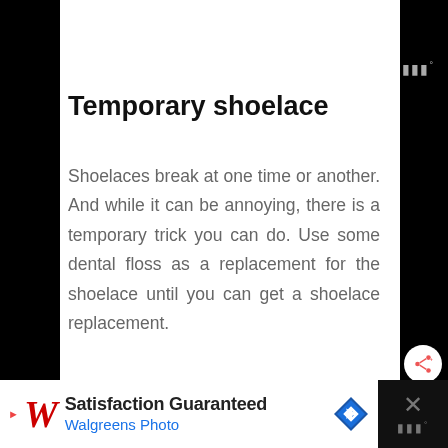Temporary shoelace
Shoelaces break at one time or another. And while it can be annoying, there is a temporary trick you can do. Use some dental floss as a replacement for the shoelace until you can get a shoelace replacement.
[Figure (screenshot): Walgreens Photo advertisement banner at bottom: 'Satisfaction Guaranteed / Walgreens Photo' with logo and navigation arrow icon]